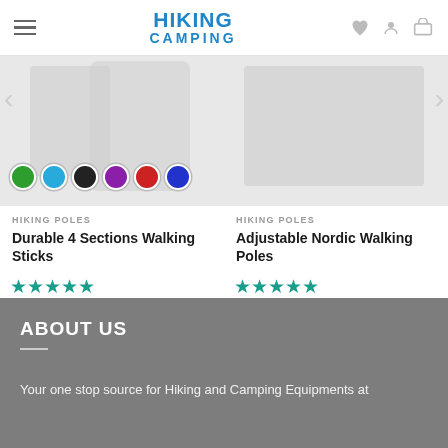HIKING CAMPING
[Figure (photo): Product images of hiking poles/walking sticks with color swatches below]
HIKING POLES
Durable 4 Sections Walking Sticks
★★★★★
$36.78 $31.26
HIKING POLES
Adjustable Nordic Walking Poles
★★★★★
$44.00 $25.96
ABOUT US
Your one stop source for Hiking and Camping Equipments at